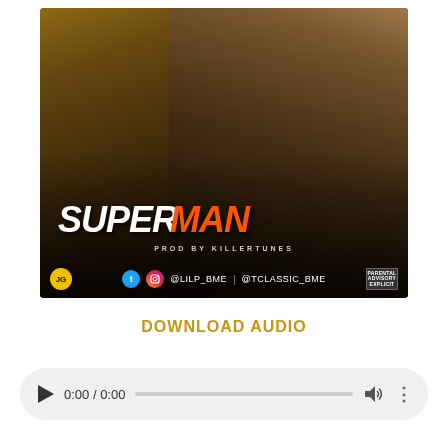[Figure (photo): Music single cover art for 'SUPERMAN' by LilP_BME and TClassic_BME. Dark brown background with Superman logo, two young African boys, song title 'SUPERMAN' in white and orange italic text, 'PROD BY KILLERTUNES' subtitle, social handles @LILP_BME and @TCLASSIC_BME.]
DOWNLOAD AUDIO
0:00 / 0:00